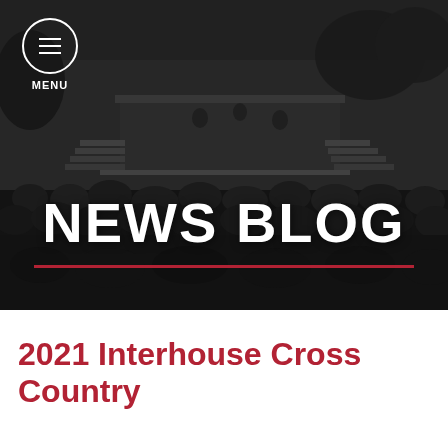[Figure (photo): Black and white photograph of a large outdoor crowd gathered in front of a stage or platform, with trees and buildings in the background. School assembly or event scene.]
MENU
NEWS BLOG
2021 Interhouse Cross Country